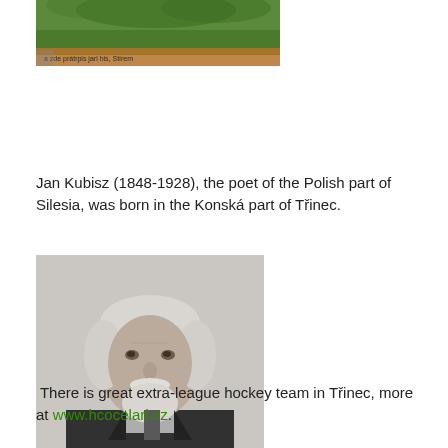[Figure (photo): Partial top view of an outdoor scene with green grass and a banner/sign with text partially visible reading something about 'a zde prátrpis...' in brownish-orange ribbon across the image bottom]
Jan Kubisz (1848-1928), the poet of the Polish part of Silesia, was born in the Konská part of Třinec.
[Figure (photo): Black and white portrait photograph of an elderly man with white hair and a white beard, wearing a dark suit jacket, facing slightly to the side]
There is great extra-league hockey team in Třinec, more at www.hcocelari.cz.